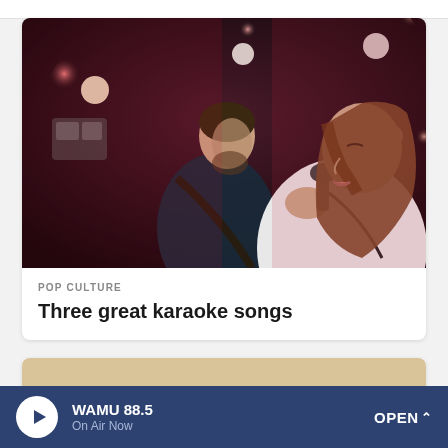[Figure (photo): A woman singing into a microphone on stage with red/pink stage lights and a man playing guitar in the background, in a dark concert setting.]
POP CULTURE
Three great karaoke songs
[Figure (photo): Partial card showing a warm golden/tan background, partially visible.]
WAMU 88.5
On Air Now
OPEN ^